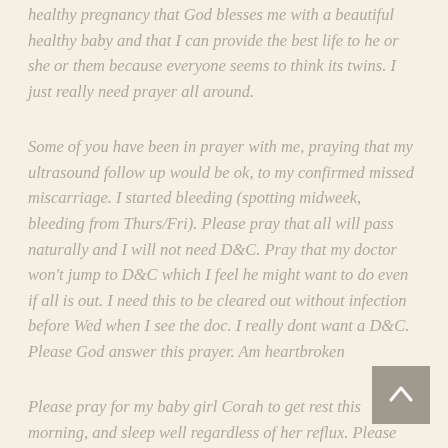healthy pregnancy that God blesses me with a beautiful healthy baby and that I can provide the best life to he or she or them because everyone seems to think its twins. I just really need prayer all around.
Some of you have been in prayer with me, praying that my ultrasound follow up would be ok, to my confirmed missed miscarriage. I started bleeding (spotting midweek, bleeding from Thurs/Fri). Please pray that all will pass naturally and I will not need D&C. Pray that my doctor won't jump to D&C which I feel he might want to do even if all is out. I need this to be cleared out without infection before Wed when I see the doc. I really dont want a D&C. Please God answer this prayer. Am heartbroken
Please pray for my baby girl Corah to get rest this morning, and sleep well regardless of her reflux. Please pray that her reflux disappears. As she's sleeping